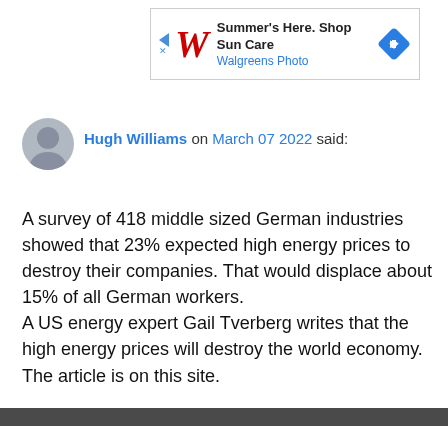[Figure (other): Walgreens Photo advertisement banner with logo, text 'Summer's Here. Shop Sun Care / Walgreens Photo' and a blue direction sign icon]
Hugh Williams on March 07 2022 said:
A survey of 418 middle sized German industries showed that 23% expected high energy prices to destroy their companies. That would displace about 15% of all German workers.
A US energy expert Gail Tverberg writes that the high energy prices will destroy the world economy. The article is on this site.